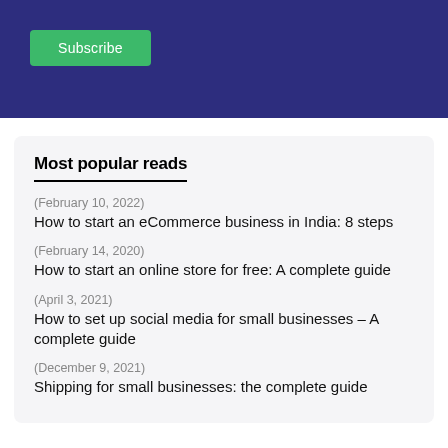[Figure (other): Dark blue banner with a green Subscribe button]
Most popular reads
(February 10, 2022)
How to start an eCommerce business in India: 8 steps
(February 14, 2020)
How to start an online store for free: A complete guide
(April 3, 2021)
How to set up social media for small businesses – A complete guide
(December 9, 2021)
Shipping for small businesses: the complete guide